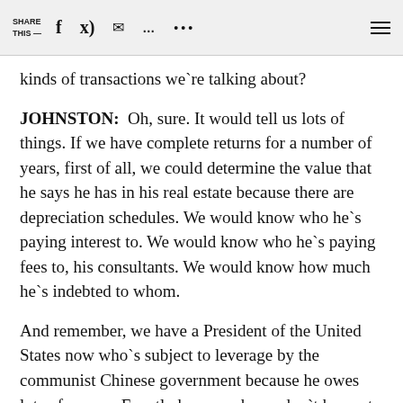SHARE THIS —  f  [twitter]  [email]  [message]  ...  [menu]
kinds of transactions we're talking about?
JOHNSTON:  Oh, sure. It would tell us lots of things. If we have complete returns for a number of years, first of all, we could determine the value that he says he has in his real estate because there are depreciation schedules. We would know who he's paying interest to. We would know who he's paying fees to, his consultants. We would know how much he's indebted to whom.
And remember, we have a President of the United States now who's subject to leverage by the communist Chinese government because he owes lots of money. Exactly how much, we don't know, to communist banks in China. A republican president who's in debt to the Chinese communist government.